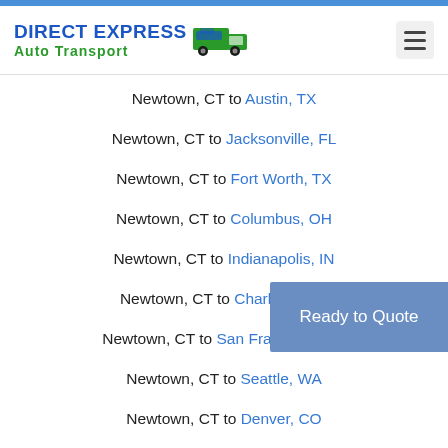DIRECT EXPRESS Auto Transport
Newtown, CT to Austin, TX
Newtown, CT to Jacksonville, FL
Newtown, CT to Fort Worth, TX
Newtown, CT to Columbus, OH
Newtown, CT to Indianapolis, IN
Newtown, CT to Charlotte, NC
Newtown, CT to San Francisco, CA
Newtown, CT to Seattle, WA
Newtown, CT to Denver, CO
Ready to Quote